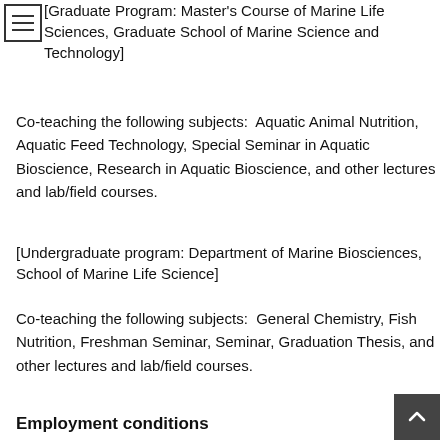[Graduate Program: Master's Course of Marine Life Sciences, Graduate School of Marine Science and Technology]
Co-teaching the following subjects:  Aquatic Animal Nutrition, Aquatic Feed Technology, Special Seminar in Aquatic Bioscience, Research in Aquatic Bioscience, and other lectures and lab/field courses.
[Undergraduate program: Department of Marine Biosciences, School of Marine Life Science]
Co-teaching the following subjects:  General Chemistry, Fish Nutrition, Freshman Seminar, Seminar, Graduation Thesis, and other lectures and lab/field courses.
Employment conditions